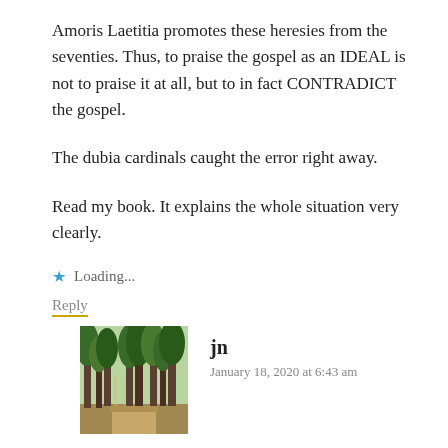Amoris Laetitia promotes these heresies from the seventies. Thus, to praise the gospel as an IDEAL is not to praise it at all, but to in fact CONTRADICT the gospel.
The dubia cardinals caught the error right away.
Read my book. It explains the whole situation very clearly.
Loading...
Reply
[Figure (photo): Forest/woodland photo used as commenter avatar]
jn
January 18, 2020 at 6:43 am